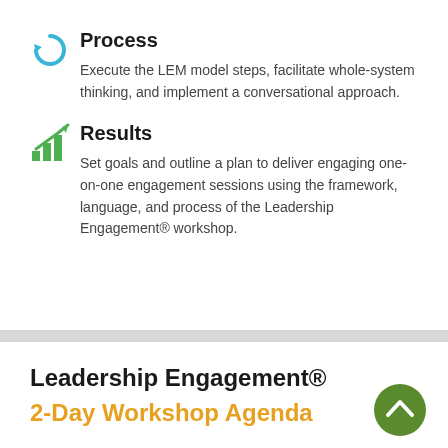Process
Execute the LEM model steps, facilitate whole-system thinking, and implement a conversational approach.
Results
Set goals and outline a plan to deliver engaging one-on-one engagement sessions using the framework, language, and process of the Leadership Engagement® workshop.
Leadership Engagement®
2-Day Workshop Agenda